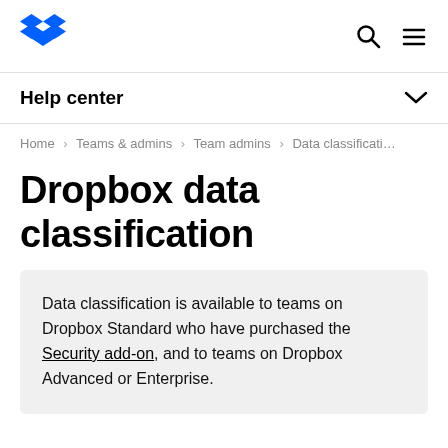[Figure (logo): Dropbox blue diamond logo]
Help center
Home › Teams & admins › Team admins › Data classificati…
Dropbox data classification
Data classification is available to teams on Dropbox Standard who have purchased the Security add-on, and to teams on Dropbox Advanced or Enterprise.